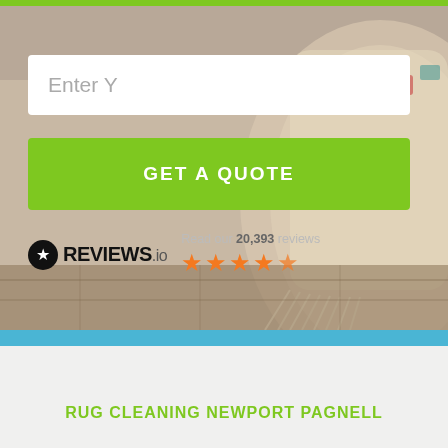[Figure (photo): Background photo of a rolled decorative rug with fringes on a wooden floor, with a greenish-yellow top accent bar. Overlay UI elements include a search input box, a green 'GET A QUOTE' button, and a REVIEWS.io badge with star ratings.]
Enter Y
GET A QUOTE
Read our 20,393 reviews
REVIEWS.io
RUG CLEANING NEWPORT PAGNELL